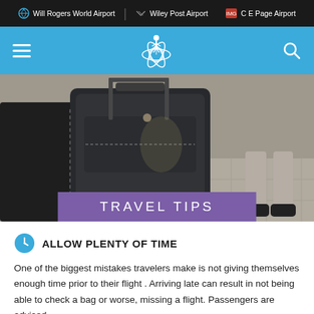Will Rogers World Airport | Wiley Post Airport | C E Page Airport
[Figure (screenshot): Airport website navigation bar with hamburger menu, airport logo (globe with figure), and search icon on blue background]
[Figure (photo): Photo of a dark rolling luggage suitcase being pulled by a traveler, with another person walking in background]
TRAVEL TIPS
ALLOW PLENTY OF TIME
One of the biggest mistakes travelers make is not giving themselves enough time prior to their flight . Arriving late can result in not being able to check a bag or worse, missing a flight. Passengers are advised